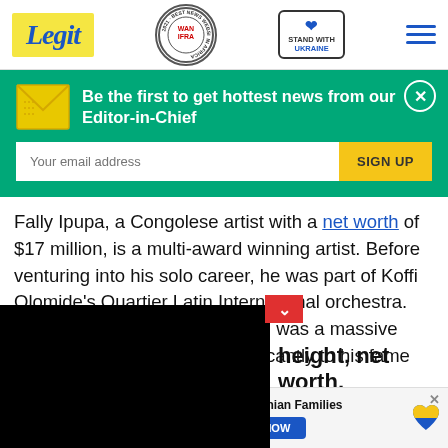Legit | WAN IFRA 2021 Best News Website in Africa | Stand with Ukraine
Be the first to get hottest news from our Editor-in-Chief
Fally Ipupa, a Congolese artist with a net worth of $17 million, is a multi-award winning artist. Before venturing into his solo career, he was part of Koffi Olomide's Quartier Latin International orchestra. His debut album, Droit Chenim, was a massive success and contributed significantly to his fame
height, net worth,
[Figure (screenshot): Black video player overlay on left side of article]
Help Protect Ukrainian Families DONATE NOW